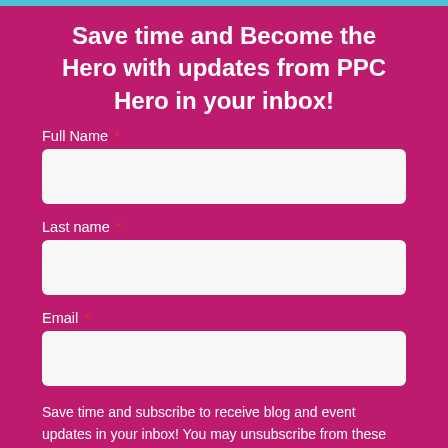Save time and Become the Hero with updates from PPC Hero in your inbox!
Full Name *
Last name *
Email *
Save time and subscribe to receive blog and event updates in your inbox! You may unsubscribe from these communications at any time. For information on how to unsubscribe, as well as our privacy practices and